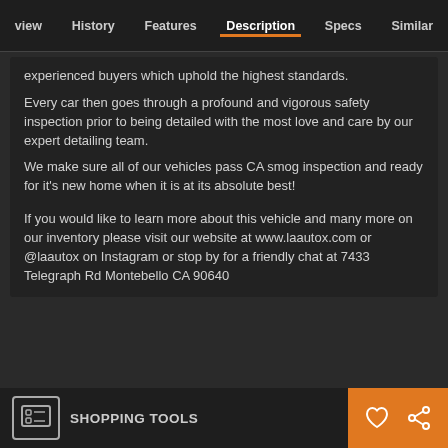view  History  Features  Description  Specs  Similar
experienced buyers which uphold the highest standards.
Every car then goes through a profound and vigorous safety inspection prior to being detailed with the most love and care by our expert detailing team.
We make sure all of our vehicles pass CA smog inspection and ready for it's new home when it is at its absolute best!
If you would like to learn more about this vehicle and many more on our inventory please visit our website at www.laautox.com or @laautox on Instagram or stop by for a friendly chat at 7433 Telegraph Rd Montebello CA 90640
SHOPPING TOOLS